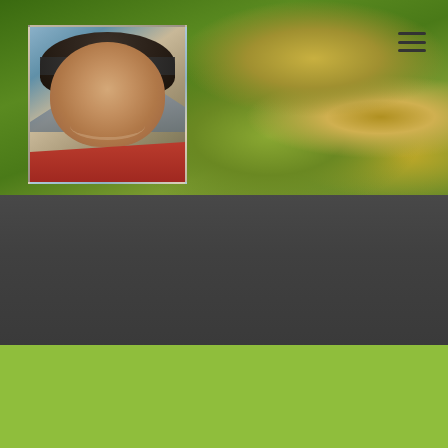[Figure (photo): Portrait photo of a smiling man with a headband against mountain background, overlaid on a green fern/plant macro photograph background with hamburger menu icon in top right]
› vernaat
© Copyright 2016 – 2022 | All content by Teun Geurts | All Rights Reserved | Powered by WordPress
[Figure (logo): Facebook 'f' icon in blue and LinkedIn 'in' icon in teal/blue, social media links in footer]
[Figure (other): Dark grey back-to-top button with upward chevron arrow]